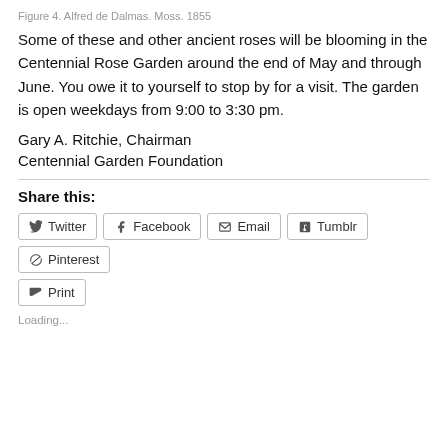Figure 4. Alfred de Dalmas. Moss. 1855
Some of these and other ancient roses will be blooming in the Centennial Rose Garden around the end of May and through June. You owe it to yourself to stop by for a visit. The garden is open weekdays from 9:00 to 3:30 pm.
Gary A. Ritchie, Chairman
Centennial Garden Foundation
Share this:
Twitter  Facebook  Email  Tumblr  Pinterest  Print
Loading...